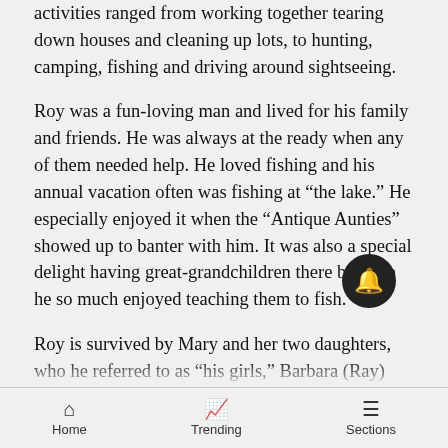activities ranged from working together tearing down houses and cleaning up lots, to hunting, camping, fishing and driving around sightseeing.
Roy was a fun-loving man and lived for his family and friends. He was always at the ready when any of them needed help. He loved fishing and his annual vacation often was fishing at “the lake.” He especially enjoyed it when the “Antique Aunties” showed up to banter with him. It was also a special delight having great-grandchildren there because he so much enjoyed teaching them to fish.
Roy is survived by Mary and her two daughters, who he referred to as “his girls,” Barbara (Ray) Evans of Parachute, Colo., and Tina (Patrick) Drake of Calha Colo.; two sisters, Marie Cronk of Tacoma, Wash., and Avis Maslav of Arriba, Colo., as well as two brothers
Home   Trending   Sections